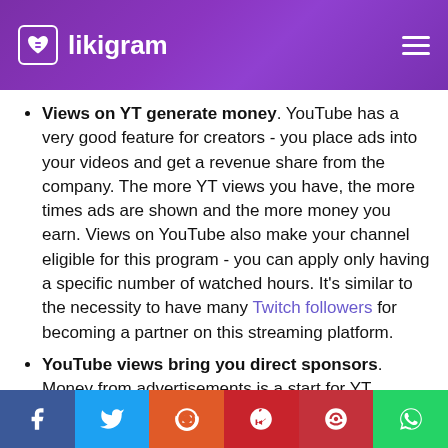likigram
Views on YT generate money. YouTube has a very good feature for creators - you place ads into your videos and get a revenue share from the company. The more YT views you have, the more times ads are shown and the more money you earn. Views on YouTube also make your channel eligible for this program - you can apply only having a specific number of watched hours. It's similar to the necessity to have many Twitch followers for becoming a partner on this streaming platform.
YouTube views bring you direct sponsors. Money from advertisements is a start for YT influencers. To earn big, you should find a
Social share bar: Facebook, Twitter, Reddit, Pinterest, Pocket, WhatsApp